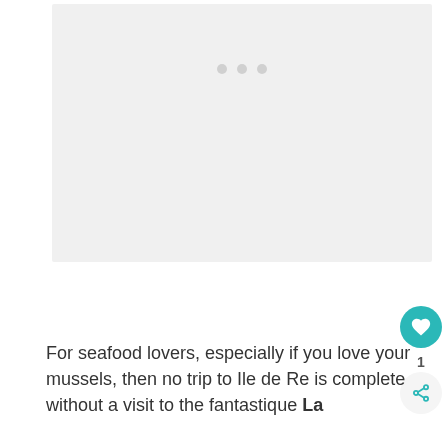[Figure (photo): A light gray image placeholder with three small dots centered near the top, indicating a loading or empty image area.]
For seafood lovers, especially if you love your mussels, then no trip to Ile de Re is complete without a visit to the fantastique La